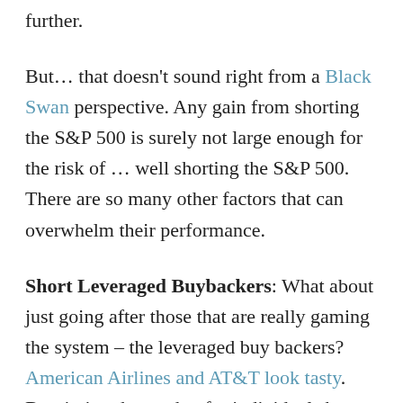further.
But… that doesn't sound right from a Black Swan perspective. Any gain from shorting the S&P 500 is surely not large enough for the risk of … well shorting the S&P 500. There are so many other factors that can overwhelm their performance.
Short Leveraged Buybackers: What about just going after those that are really gaming the system – the leveraged buy backers? American Airlines and AT&T look tasty. But timing the market for individual shorts is tricky and costly. As my good friend reminded me of Keynes warning: